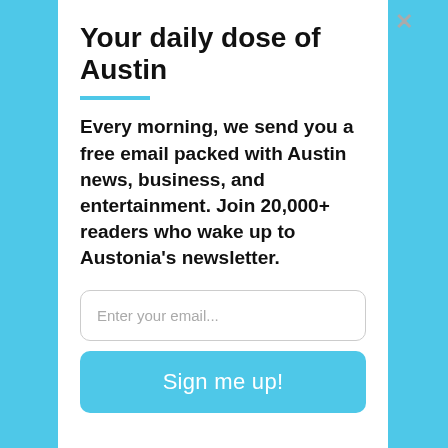Your daily dose of Austin
Every morning, we send you a free email packed with Austin news, business, and entertainment. Join 20,000+ readers who wake up to Austonia's newsletter.
Enter your email...
Sign me up!